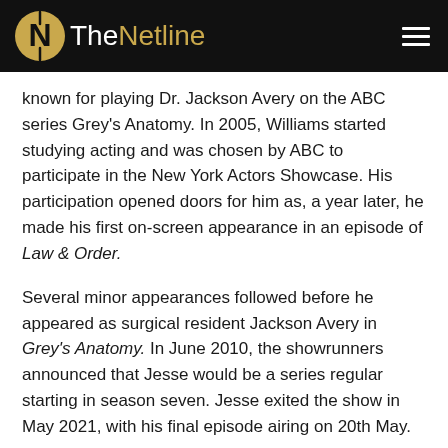TheNetline
known for playing Dr. Jackson Avery on the ABC series Grey’s Anatomy. In 2005, Williams started studying acting and was chosen by ABC to participate in the New York Actors Showcase. His participation opened doors for him as, a year later, he made his first on-screen appearance in an episode of Law & Order.
Several minor appearances followed before he appeared as surgical resident Jackson Avery in Grey’s Anatomy. In June 2010, the showrunners announced that Jesse would be a series regular starting in season seven. Jesse exited the show in May 2021, with his final episode airing on 20th May.
Jesse followed his parents into teaching